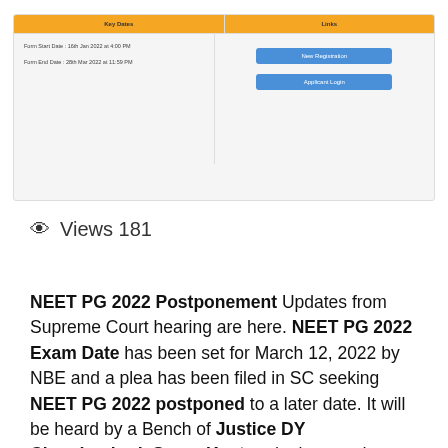[Figure (screenshot): Screenshot of a form portal showing Key Dates and Links sections. Key Dates shows Form Start Date: 16th Jan 2022 at 4:00 PM and Form End Date: 28th Mar 2022 at 11:59 PM. Links section shows two blue buttons: New Registration and Applicant Login.]
Views 181
NEET PG 2022 Postponement Updates from Supreme Court hearing are here. NEET PG 2022 Exam Date has been set for March 12, 2022 by NBE and a plea has been filed in SC seeking NEET PG 2022 postponed to a later date. It will be heard by a Bench of Justice DY Chandrachud, Surya Kant and others and challenges NEET PG Regulations, 2000 while seeking a change in Internship deadline.